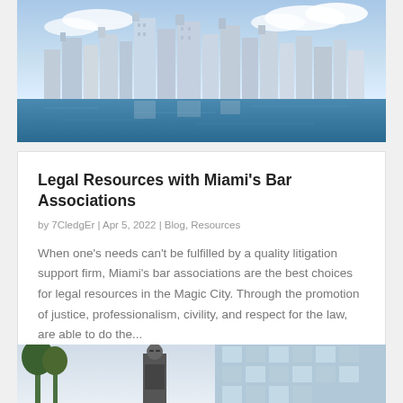[Figure (photo): Aerial photo of Miami city skyline with waterfront, modern skyscrapers and blue sky with clouds]
Legal Resources with Miami's Bar Associations
by 7CledgEr | Apr 5, 2022 | Blog, Resources
When one's needs can't be fulfilled by a quality litigation support firm, Miami's bar associations are the best choices for legal resources in the Magic City. Through the promotion of justice, professionalism, civility, and respect for the law, are able to do the...
[Figure (photo): Person standing outdoors near a glass building, partial view cropped at bottom of page]